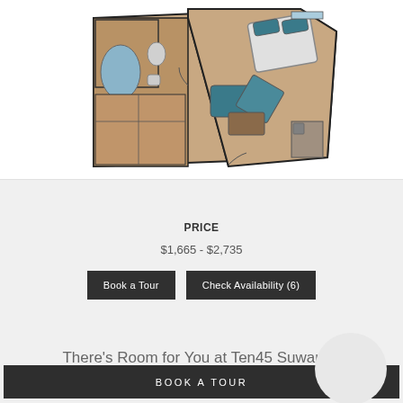[Figure (illustration): Apartment floor plan showing bedroom, bathroom, living area, and kitchen layout with furniture rendered in brown/tan tones and teal accent colors]
PRICE
$1,665 - $2,735
Book a Tour
Check Availability (6)
There's Room for You at Ten45 Suwanee
BOOK A TOUR